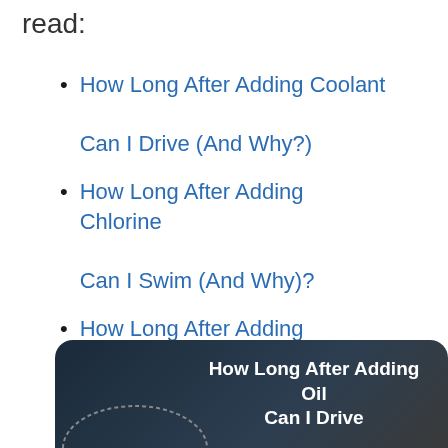read:
How Long After Adding Coolant Can I Drive (And Why?)
How Long After Adding Chlorine Can I Swim (And Why)?
How Long After Adding Bromine To Hot Tub (And Why)?
[Figure (illustration): Dark banner/card with text 'How Long After Adding Oil Can I Drive' and a partial car illustration]